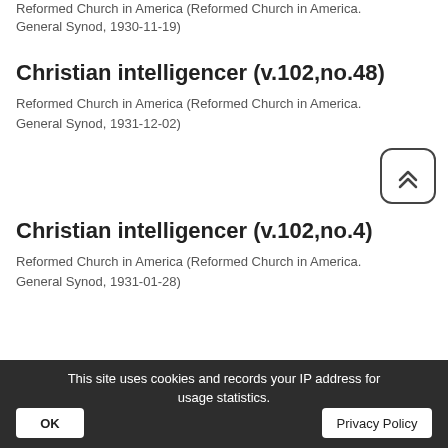Reformed Church in America (Reformed Church in America. General Synod, 1930-11-19)
Christian intelligencer (v.102,no.48)
Reformed Church in America (Reformed Church in America. General Synod, 1931-12-02)
Christian intelligencer (v.102,no.4)
Reformed Church in America (Reformed Church in America. General Synod, 1931-01-28)
This site uses cookies and records your IP address for usage statistics.